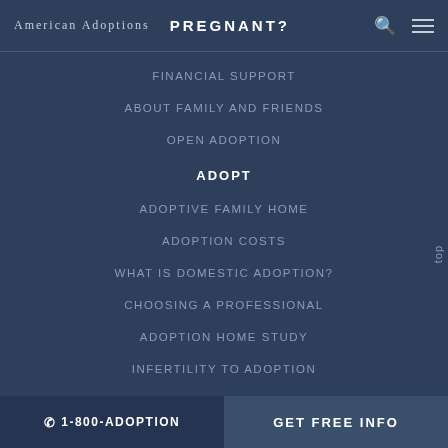American Adoptions  PREGNANT?
FINANCIAL SUPPORT
ABOUT FAMILY AND FRIENDS
OPEN ADOPTION
ADOPT
ADOPTIVE FAMILY HOME
ADOPTION COSTS
WHAT IS DOMESTIC ADOPTION?
CHOOSING A PROFESSIONAL
ADOPTION HOME STUDY
INFERTILITY TO ADOPTION
WHAT IS OPEN ADOPTION?
ADOPTIVE FAMILY RESOURCES
☎ 1-800-ADOPTION    GET FREE INFO